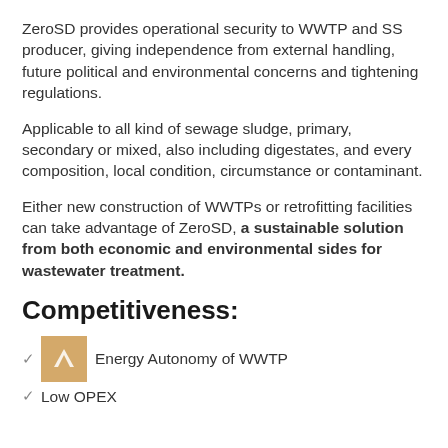ZeroSD provides operational security to WWTP and SS producer, giving independence from external handling, future political and environmental concerns and tightening regulations.
Applicable to all kind of sewage sludge, primary, secondary or mixed, also including digestates, and every composition, local condition, circumstance or contaminant.
Either new construction of WWTPs or retrofitting facilities can take advantage of ZeroSD, a sustainable solution from both economic and environmental sides for wastewater treatment.
Competitiveness:
Energy Autonomy of WWTP
Low OPEX